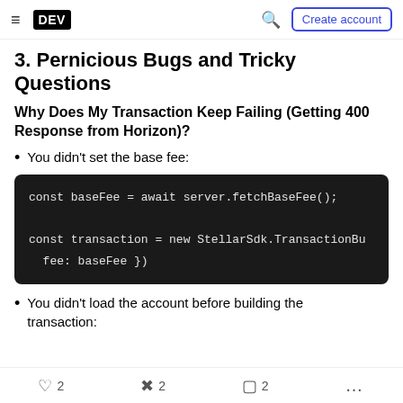DEV | Create account
3. Pernicious Bugs and Tricky Questions
Why Does My Transaction Keep Failing (Getting 400 Response from Horizon)?
You didn't set the base fee:
[Figure (screenshot): Code block showing: const baseFee = await server.fetchBaseFee(); const transaction = new StellarSdk.TransactionB... fee: baseFee })]
You didn't load the account before building the transaction:
2  2  2  ...